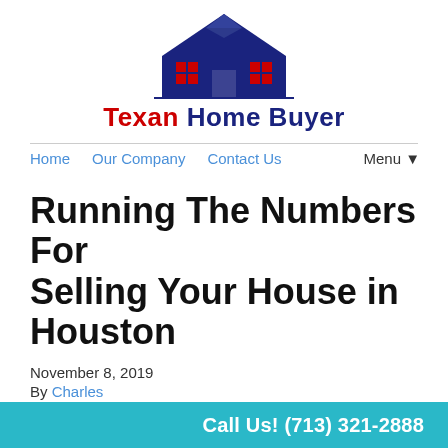[Figure (logo): Texan Home Buyer logo: house silhouette in dark navy blue with red window squares, above the brand name 'Texan Home Buyer' in red and navy text]
Home   Our Company   Contact Us   Menu▾
Running The Numbers For Selling Your House in Houston
November 8, 2019
By Charles
[Figure (photo): Close-up photo of a calculator with red/orange buttons and a pen on paper, suggesting financial calculations]
Call Us! (713) 321-2888